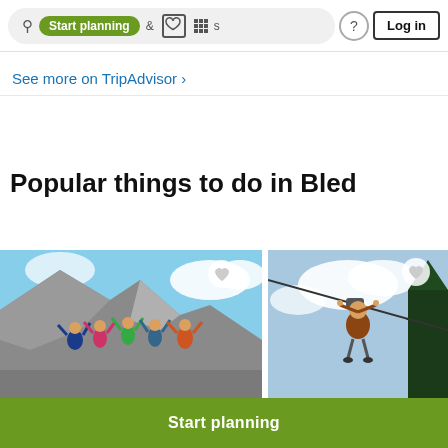[Figure (screenshot): TripAdvisor website navigation bar with search pill containing 'Start planning' green button and activities icons, question mark icon, and Log in button]
See more on TripAdvisor ›
Popular things to do in Bled
[Figure (photo): Group of people jumping with arms raised on rocky mountain top against blue sky]
[Figure (photo): Person on zipline against cloudy blue sky with trees in background]
Start planning